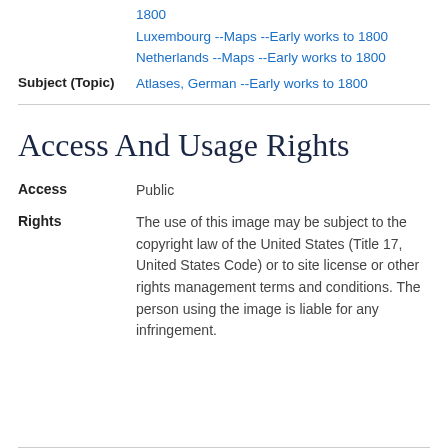1800
Luxembourg --Maps --Early works to 1800
Netherlands --Maps --Early works to 1800
Subject (Topic)   Atlases, German --Early works to 1800
Access And Usage Rights
Access   Public
Rights   The use of this image may be subject to the copyright law of the United States (Title 17, United States Code) or to site license or other rights management terms and conditions. The person using the image is liable for any infringement.